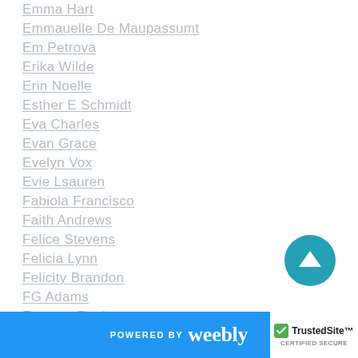Emma Hart
Emmauelle De Maupassumt
Em Petrova
Erika Wilde
Erin Noelle
Esther E Schmidt
Eva Charles
Evan Grace
Evelyn Vox
Evie Lsauren
Fabiola Francisco
Faith Andrews
Felice Stevens
Felicia Lynn
Felicity Brandon
FG Adams
Frances Paul
POWERED BY weebly | TrustedSite CERTIFIED SECURE